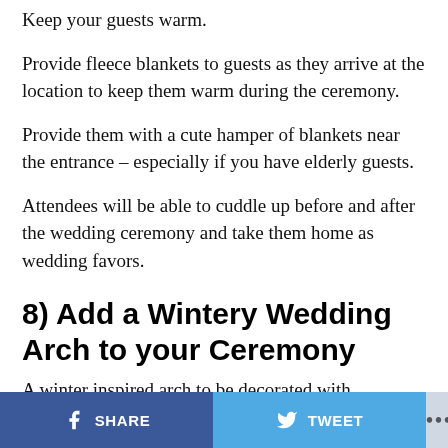Keep your guests warm.
Provide fleece blankets to guests as they arrive at the location to keep them warm during the ceremony.
Provide them with a cute hamper of blankets near the entrance – especially if you have elderly guests.
Attendees will be able to cuddle up before and after the wedding ceremony and take them home as wedding favors.
8) Add a Wintery Wedding Arch to your Ceremony
A winter inspired arch to be decorated with
SHARE   TWEET   ...